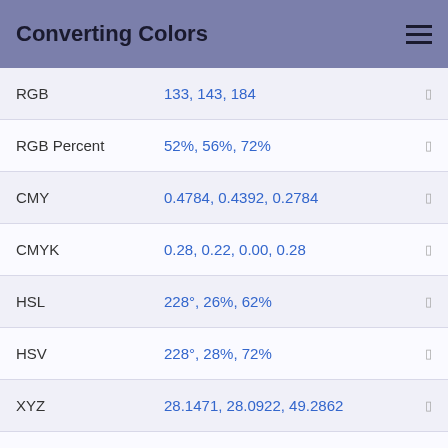Converting Colors
| Label | Value |
| --- | --- |
| RGB | 133, 143, 184 |
| RGB Percent | 52%, 56%, 72% |
| CMY | 0.4784, 0.4392, 0.2784 |
| CMYK | 0.28, 0.22, 0.00, 0.28 |
| HSL | 228°, 26%, 62% |
| HSV | 228°, 28%, 72% |
| XYZ | 28.1471, 28.0922, 49.2862 |
| YIQ | 144.6840, -19.1210, 10.6310 |
Conversions Part 1